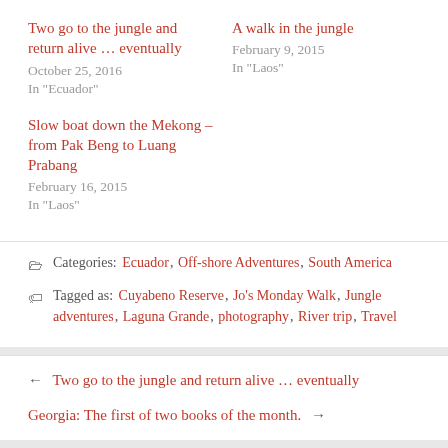Two go to the jungle and return alive … eventually
October 25, 2016
In "Ecuador"
A walk in the jungle
February 9, 2015
In "Laos"
Slow boat down the Mekong – from Pak Beng to Luang Prabang
February 16, 2015
In "Laos"
Categories: Ecuador, Off-shore Adventures, South America
Tagged as: Cuyabeno Reserve, Jo's Monday Walk, Jungle adventures, Laguna Grande, photography, River trip, Travel
← Two go to the jungle and return alive … eventually
Georgia: The first of two books of the month. →